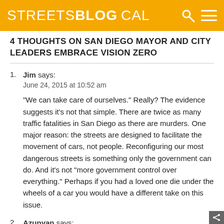STREETSBLOG CAL
4 THOUGHTS ON SAN DIEGO MAYOR AND CITY LEADERS EMBRACE VISION ZERO
1. Jim says:
June 24, 2015 at 10:52 am

“We can take care of ourselves.” Really? The evidence suggests it’s not that simple. There are twice as many traffic fatalities in San Diego as there are murders. One major reason: the streets are designed to facilitate the movement of cars, not people. Reconfiguring our most dangerous streets is something only the government can do. And it’s not “more government control over everything.” Perhaps if you had a loved one die under the wheels of a car you would have a different take on this issue.
2. Azunyan says:
June 23, 2015 at 1:54 pm

Isn’t “safety” the modern buzzword for more gover...